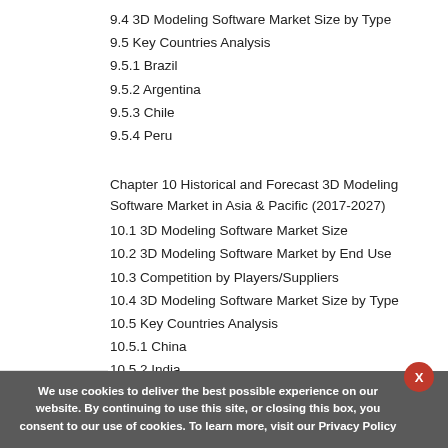9.4 3D Modeling Software Market Size by Type
9.5 Key Countries Analysis
9.5.1 Brazil
9.5.2 Argentina
9.5.3 Chile
9.5.4 Peru
Chapter 10 Historical and Forecast 3D Modeling Software Market in Asia & Pacific (2017-2027)
10.1 3D Modeling Software Market Size
10.2 3D Modeling Software Market by End Use
10.3 Competition by Players/Suppliers
10.4 3D Modeling Software Market Size by Type
10.5 Key Countries Analysis
10.5.1 China
10.5.2 India
10.5.3 Japan
10.5.4 South Korea
10.5.5 Southest Asia
We use cookies to deliver the best possible experience on our website. By continuing to use this site, or closing this box, you consent to our use of cookies. To learn more, visit our Privacy Policy